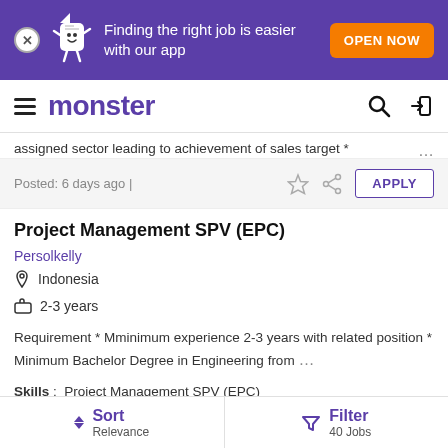[Figure (screenshot): Monster job board app banner with purple background, mascot, 'Finding the right job is easier with our app' text, and orange 'OPEN NOW' button]
monster
assigned sector leading to achievement of sales target * …
Posted: 6 days ago |
Project Management SPV (EPC)
Persolkelly
Indonesia
2-3 years
Requirement * Mminimum experience 2-3 years with related position * Minimum Bachelor Degree in Engineering from …
Skills : Project Management SPV (EPC)
Sort Relevance | Filter 40 Jobs